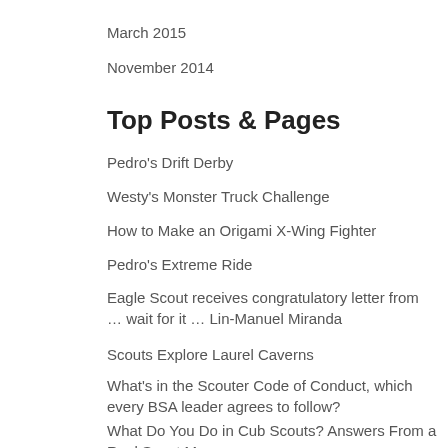March 2015
November 2014
Top Posts & Pages
Pedro's Drift Derby
Westy's Monster Truck Challenge
How to Make an Origami X-Wing Fighter
Pedro's Extreme Ride
Eagle Scout receives congratulatory letter from … wait for it … Lin-Manuel Miranda
Scouts Explore Laurel Caverns
What's in the Scouter Code of Conduct, which every BSA leader agrees to follow?
What Do You Do in Cub Scouts? Answers From a Real Scout Mom